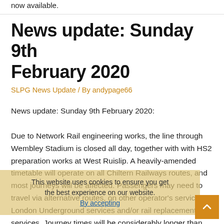now available.
News update: Sunday 9th February 2020
SLPG News Update / By andypage66
News update: Sunday 9th February 2020:
Due to Network Rail engineering works, the line through Wembley Stadium is closed all day, together with with HS2 preparation works at West Ruislip. A heavily-amended timetable will operate on all Chiltern Railways routes, and most journeys will be affected. Passengers may need to travel via alternative routes, on other operator's services, London Underground services and/or rail replacement bus services. Journey times will be considerably longer than usual.